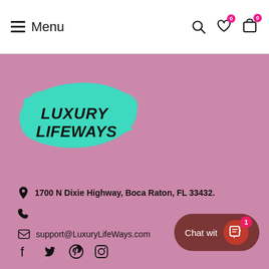Menu | search, wishlist (0), cart (0)
[Figure (logo): Luxury Lifeways logo: teal brushstroke background with bold black handwritten text 'LUXURY LIFEWAYS']
1700 N Dixie Highway, Boca Raton, FL 33432.
support@LuxuryLifeWays.com
[Figure (infographic): Social media icons: Facebook, Twitter, Pinterest, Instagram]
[Figure (infographic): Chat widget button: 'Chat wit' with shopping bag icon and badge showing 1]